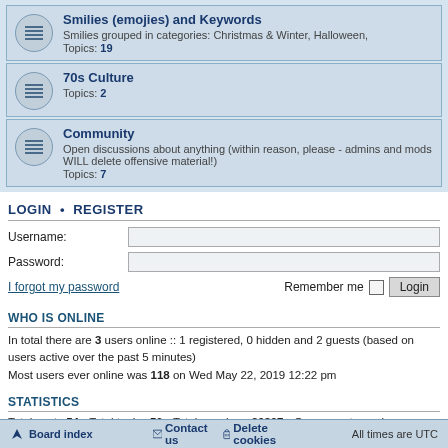Smilies (emojies) and Keywords
Smilies grouped in categories: Christmas & Winter, Halloween,
Topics: 19
70s Culture
Topics: 2
Community
Open discussions about anything (within reason, please - admins and mods WILL delete offensive material!)
Topics: 7
LOGIN • REGISTER
Username:
Password:
I forgot my password
Remember me
WHO IS ONLINE
In total there are 3 users online :: 1 registered, 0 hidden and 2 guests (based on users active over the past 5 minutes)
Most users ever online was 118 on Wed May 22, 2019 12:22 pm
STATISTICS
Total posts 54 • Total topics 50 • Total members 29897 • Our newest member alexdokor
Board index   Contact us   Delete cookies   All times are UTC